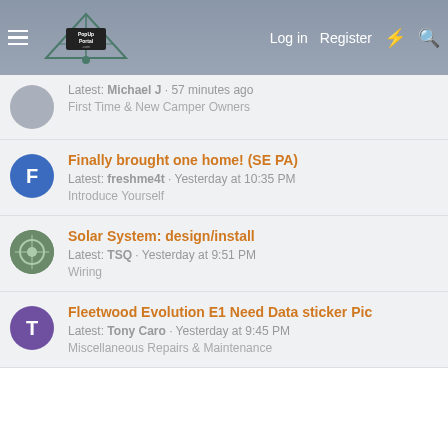PopUpPortal.com — Log in | Register
Latest: Michael J · 57 minutes ago
First Time & New Camper Owners
Finally brought one home! (SE PA)
Latest: freshme4t · Yesterday at 10:35 PM
Introduce Yourself
Solar System: design/install
Latest: TSQ · Yesterday at 9:51 PM
Wiring
Fleetwood Evolution E1 Need Data sticker Pic
Latest: Tony Caro · Yesterday at 9:45 PM
Miscellaneous Repairs & Maintenance